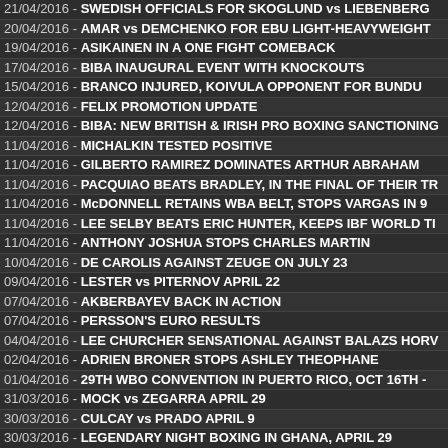21/04/2016 - SWEDISH OFFICIALS FOR SKOGLUND vs LIEBENBERG
20/04/2016 - AMAR vs DEMCHENKO FOR EBU LIGHT-HEAVYWEIGHT
19/04/2016 - ASIKAINEN IN A ONE FIGHT COMEBACK
17/04/2016 - BIBA INAUGURAL EVENT WITH KNOCKOUTS
15/04/2016 - BRANCO INJURED, KOIVULA OPPONENT FOR BUNDU
12/04/2016 - FELIX PROMOTION UPDATE
12/04/2016 - BIBA: NEW BRITISH & IRISH PRO BOXING SANCTIONING
11/04/2016 - MICHALKIN TESTED POSITIVE
11/04/2016 - GILBERTO RAMIREZ DOMINATES ARTHUR ABRAHAM
11/04/2016 - PACQUIAO BEATS BRADLEY, IN THE FINAL OF THEIR TR
11/04/2016 - McDONNELL RETAINS WBA BELT, STOPS VARGAS IN 9
11/04/2016 - LEE SELBY BEATS ERIC HUNTER, KEEPS IBF WORLD TI
11/04/2016 - ANTHONY JOSHUA STOPS CHARLES MARTIN
10/04/2016 - DE CAROLIS AGAINST ZEUGE ON JULY 23
09/04/2016 - LESTER vs PITERNOV APRIL 22
07/04/2016 - AKBERBAYEV BACK IN ACTION
07/04/2016 - PERSSON'S EURO RESULTS
04/04/2016 - LEE CHURCHER SENSATIONAL AGAINST BALAZS HORV
02/04/2016 - ADRIEN BRONER STOPS ASHLEY THEOPHANE
01/04/2016 - 29TH WBO CONVENTION IN PUERTO RICO, OCT 16TH -
31/03/2016 - MOCK vs ZEGARRA APRIL 29
30/03/2016 - CULCAY vs PRADO APRIL 9
30/03/2016 - LEGENDARY NIGHT BOXING IN GHANA, APRIL 29
29/03/2016 - KRAFT vs ADAMEK APRIL 8
27/03/2016 - ZEUGE vs ACOSTA APRIL 9
26/03/2016 - KOELLING vs CHERVIAK